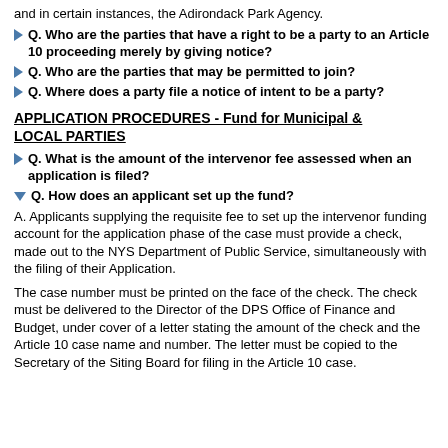and in certain instances, the Adirondack Park Agency.
Q. Who are the parties that have a right to be a party to an Article 10 proceeding merely by giving notice?
Q. Who are the parties that may be permitted to join?
Q. Where does a party file a notice of intent to be a party?
APPLICATION PROCEDURES - Fund for Municipal & LOCAL PARTIES
Q. What is the amount of the intervenor fee assessed when an application is filed?
Q. How does an applicant set up the fund?
A. Applicants supplying the requisite fee to set up the intervenor funding account for the application phase of the case must provide a check, made out to the NYS Department of Public Service, simultaneously with the filing of their Application.
The case number must be printed on the face of the check. The check must be delivered to the Director of the DPS Office of Finance and Budget, under cover of a letter stating the amount of the check and the Article 10 case name and number. The letter must be copied to the Secretary of the Siting Board for filing in the Article 10 case.